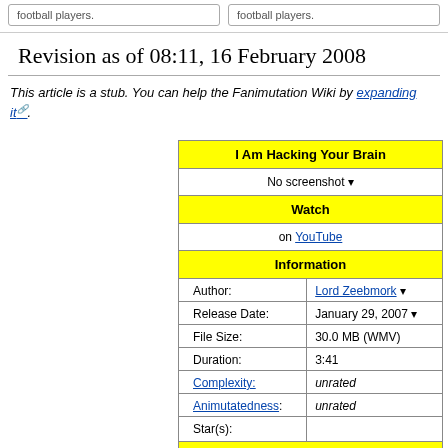football players.
Revision as of 08:11, 16 February 2008
This article is a stub. You can help the Fanimutation Wiki by expanding it.
| I Am Hacking Your Brain |
| --- |
| No screenshot ▾ |
| Watch |
| on YouTube |
| Information |
| Author: | Lord Zeebmork ▾ |
| Release Date: | January 29, 2007 ▾ |
| File Size: | 30.0 MB (WMV) |
| Duration: | 3:41 |
| Complexity: | unrated |
| Animutatedness: | unrated |
| Star(s): |  |
| Audio Info |
| Liha |